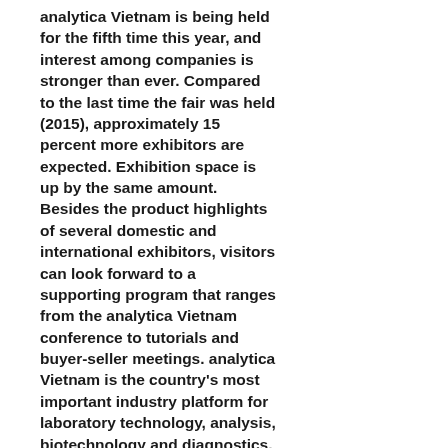analytica Vietnam is being held for the fifth time this year, and interest among companies is stronger than ever. Compared to the last time the fair was held (2015), approximately 15 percent more exhibitors are expected. Exhibition space is up by the same amount. Besides the product highlights of several domestic and international exhibitors, visitors can look forward to a supporting program that ranges from the analytica Vietnam conference to tutorials and buyer-seller meetings. analytica Vietnam is the country's most important industry platform for laboratory technology, analysis, biotechnology and diagnostics, and it takes place at the International Center for Exhibition (I.C.E.) in Hanoi from March 29–31, 2017.